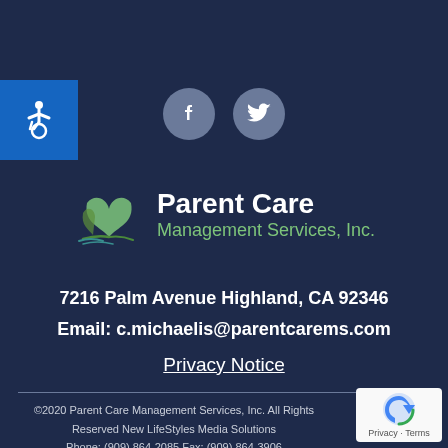[Figure (logo): Blue square accessibility icon with wheelchair symbol]
[Figure (logo): Facebook and Twitter social media circular icons in gray]
[Figure (logo): Parent Care Management Services Inc. logo with green leaf/plant graphic and text]
7216 Palm Avenue Highland, CA 92346
Email: c.michaelis@parentcarems.com
Privacy Notice
©2020 Parent Care Management Services, Inc. All Rights Reserved New LifeStyles Media Solutions Phone: (909) 864-2085 Fax: (909) 864-3906